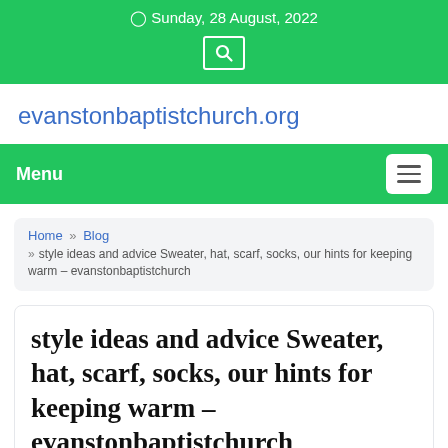⊙ Sunday, 28 August, 2022
evanstonbaptistchurch.org
Menu
Home » Blog » style ideas and advice Sweater, hat, scarf, socks, our hints for keeping warm – evanstonbaptistchurch
style ideas and advice Sweater, hat, scarf, socks, our hints for keeping warm – evanstonbaptistchurch